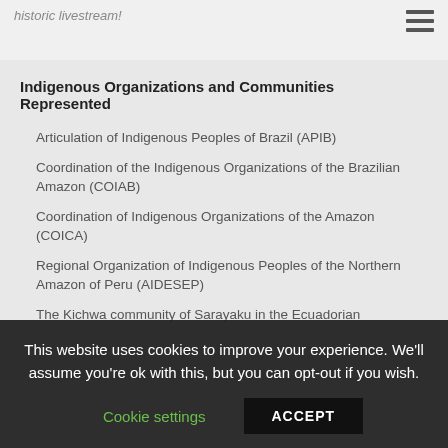historic livestream!
Indigenous Organizations and Communities Represented
Articulation of Indigenous Peoples of Brazil (APIB)
Coordination of the Indigenous Organizations of the Brazilian Amazon (COIAB)
Coordination of Indigenous Organizations of the Amazon (COICA)
Regional Organization of Indigenous Peoples of the Northern Amazon of Peru (AIDESEP)
The Kichwa community of Sarayaku in the Ecuadorian
This website uses cookies to improve your experience. We'll assume you're ok with this, but you can opt-out if you wish.
Cookie settings | ACCEPT